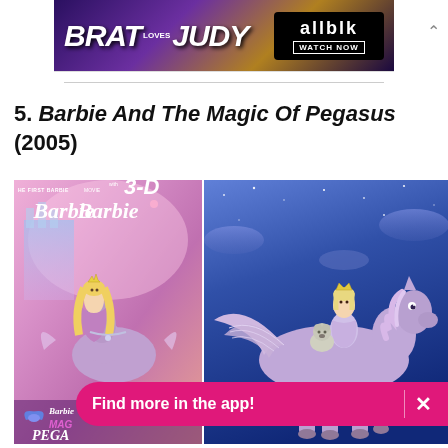[Figure (screenshot): Advertisement banner for 'Brat Loves Judy' on allblk streaming service with 'WATCH NOW' button]
5. Barbie And The Magic Of Pegasus (2005)
[Figure (photo): Two images side by side: left shows DVD cover of Barbie and the Magic of Pegasus featuring Barbie with a purple horse; right shows animated scene of characters riding a winged horse (Pegasus) against a blue night sky]
[Figure (screenshot): Pink toast notification bar reading 'Find more in the app!' with an X close button]